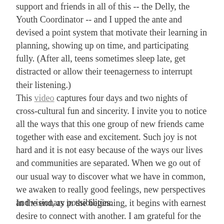support and friends in all of this -- the Delly, the Youth Coordinator -- and I upped the ante and devised a point system that motivate their learning in planning, showing up on time, and participating fully. (After all, teens sometimes sleep late, get distracted or allow their teenagerness to interrupt their listening.)
This video captures four days and two nights of cross-cultural fun and sincerity. I invite you to notice all the ways that this one group of new friends came together with ease and excitement.  Such joy is not hard and it is not easy because of the ways our lives and communities are separated.  When we go out of our usual way to discover what we have in common, we awaken to really good feelings, new perspectives and visionary possibilities.
In the end, as in the beginning, it begins with earnest desire to connect with another.  I am grateful for the hospitality of...